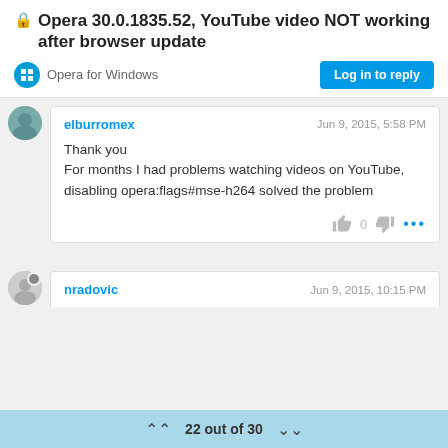🔒Opera 30.0.1835.52, YouTube video NOT working after browser update
Opera for Windows | Log in to reply
elburromex  Jun 9, 2015, 5:58 PM
Thank you
For months I had problems watching videos on YouTube, disabling opera:flags#mse-h264 solved the problem
nradovic  Jun 9, 2015, 10:15 PM
22 out of 30